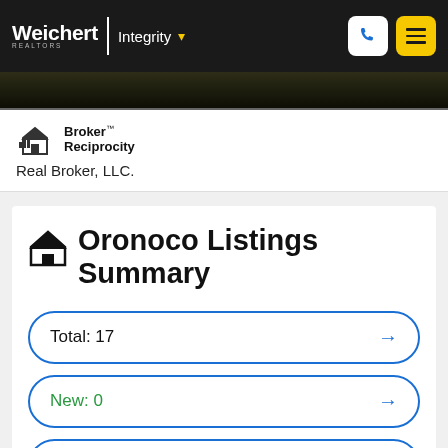Weichert Realtors | Integrity
[Figure (logo): Broker Reciprocity logo with house icon]
Real Broker, LLC.
Oronoco Listings Summary
Total: 17
New: 0
Reduced: 8